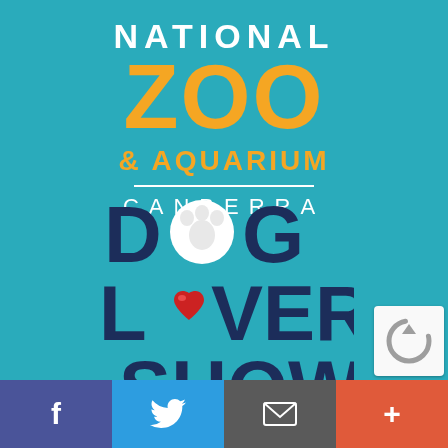[Figure (logo): National Zoo & Aquarium Canberra logo — 'NATIONAL' in white bold capitals, 'ZOO' in large orange bold capitals, '& AQUARIUM' in orange bold capitals, horizontal white divider line, 'CANBERRA' in white spaced capitals. Teal/turquoise background.]
[Figure (logo): Dog Lovers Show logo — 'DOG' in dark navy bold with paw print replacing 'O', 'LOVERS' with red heart replacing 'O', 'SHOW' in dark navy, partially cut off at bottom.]
[Figure (logo): reCAPTCHA badge in bottom-right corner — grey circular arrow icon on light background.]
[Figure (infographic): Bottom navigation bar with four colored sections: purple Facebook 'f', blue Twitter bird, grey email/envelope icon, red-orange plus sign.]